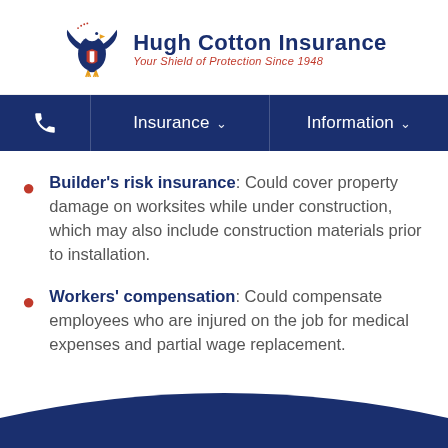[Figure (logo): Hugh Cotton Insurance logo with eagle and text 'Your Shield of Protection Since 1948']
Insurance ∨   Information ∨
Builder's risk insurance: Could cover property damage on worksites while under construction, which may also include construction materials prior to installation.
Workers' compensation: Could compensate employees who are injured on the job for medical expenses and partial wage replacement.